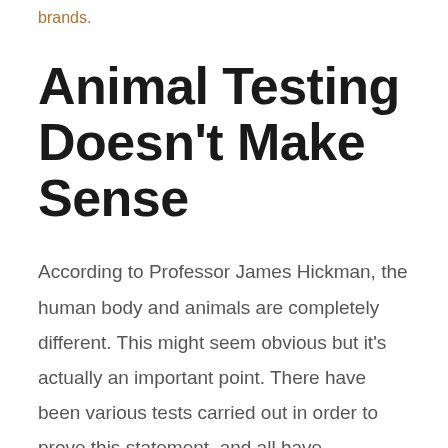brands.
Animal Testing Doesn’t Make Sense
According to Professor James Hickman, the human body and animals are completely different. This might seem obvious but it’s actually an important point. There have been various tests carried out in order to prove this statement, and all have concluded the same thing.